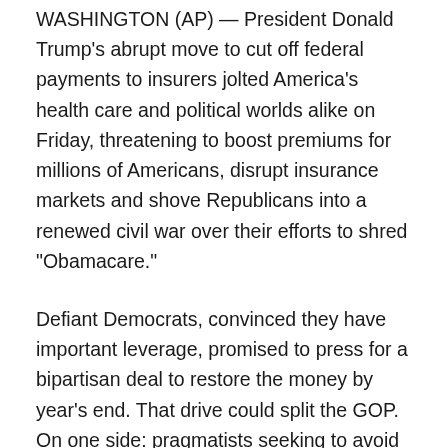WASHINGTON (AP) — President Donald Trump's abrupt move to cut off federal payments to insurers jolted America's health care and political worlds alike on Friday, threatening to boost premiums for millions of Americans, disrupt insurance markets and shove Republicans into a renewed civil war over their efforts to shred "Obamacare."
Defiant Democrats, convinced they have important leverage, promised to press for a bipartisan deal to restore the money by year's end. That drive could split the GOP. On one side: pragmatists seeking to avoid political damage from hurting consumers. On the other: conservatives demanding a major weakening of the Affordable Care Act as the price for returning the money.